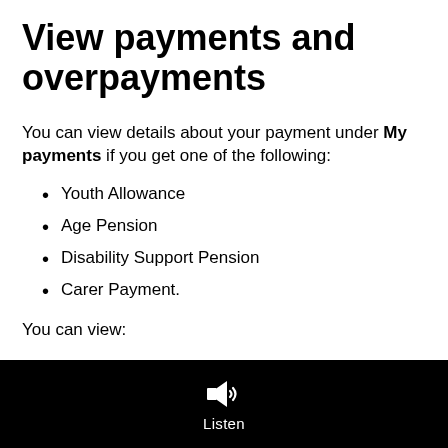View payments and overpayments
You can view details about your payment under My payments if you get one of the following:
Youth Allowance
Age Pension
Disability Support Pension
Carer Payment.
You can view:
[Figure (other): Black footer bar with a speaker/listen icon and the label 'Listen']